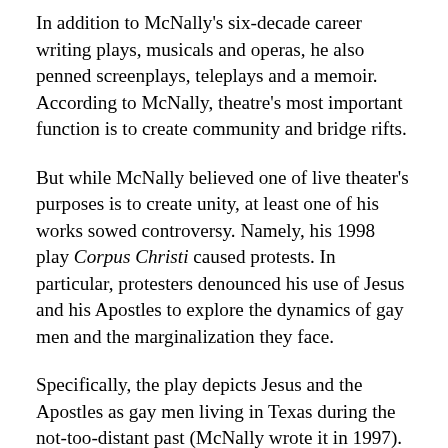In addition to McNally's six-decade career writing plays, musicals and operas, he also penned screenplays, teleplays and a memoir. According to McNally, theatre's most important function is to create community and bridge rifts.
But while McNally believed one of live theater's purposes is to create unity, at least one of his works sowed controversy. Namely, his 1998 play Corpus Christi caused protests. In particular, protesters denounced his use of Jesus and his Apostles to explore the dynamics of gay men and the marginalization they face.
Specifically, the play depicts Jesus and the Apostles as gay men living in Texas during the not-too-distant past (McNally wrote it in 1997). The Catholic League, a Roman Catholic watchdog group, condemned the piece. They viewed it as blasphemy, sacrilege and anti-Christian bigotry.